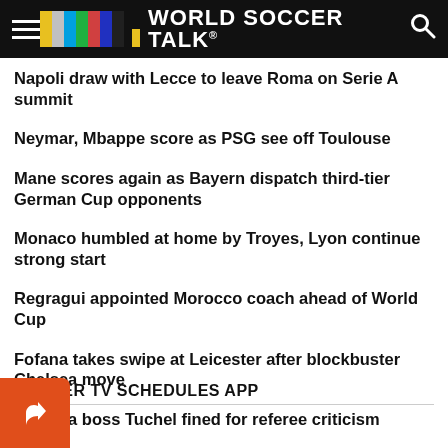WORLD SOCCER TALK
Napoli draw with Lecce to leave Roma on Serie A summit
Neymar, Mbappe score as PSG see off Toulouse
Mane scores again as Bayern dispatch third-tier German Cup opponents
Monaco humbled at home by Troyes, Lyon continue strong start
Regragui appointed Morocco coach ahead of World Cup
Fofana takes swipe at Leicester after blockbuster Chelsea move
Chelsea boss Tuchel fined for referee criticism
SOCCER TV SCHEDULES APP